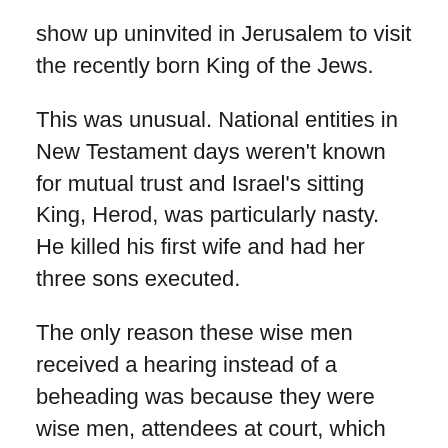show up uninvited in Jerusalem to visit the recently born King of the Jews.
This was unusual. National entities in New Testament days weren't known for mutual trust and Israel's sitting King, Herod, was particularly nasty. He killed his first wife and had her three sons executed.
The only reason these wise men received a hearing instead of a beheading was because they were wise men, attendees at court, which no doubt gave them political clout, and they were apparently wealthy too. They came bearing very expensive gifts for the new King.
But they were outsiders. Had it not been for their